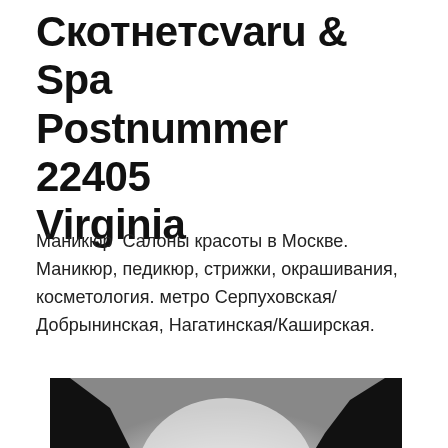Скотнетсvaru & Spa Postnummer 22405 Virginia
Маникюр  Салоны красоты в Москве. Маникюр, педикюр, стрижки, окрашивания, косметология. метро Серпуховская/Добрынинская, Нагатинская/Каширская.
[Figure (photo): Black and white photograph of a misty mountain valley with steep rocky cliffs on both sides and a bright hazy sky in the center]